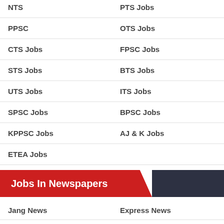NTS
PTS Jobs
PPSC
OTS Jobs
CTS Jobs
FPSC Jobs
STS Jobs
BTS Jobs
UTS Jobs
ITS Jobs
SPSC Jobs
BPSC Jobs
KPPSC Jobs
AJ & K Jobs
ETEA Jobs
Jobs In Newspapers
Jang News
Express News